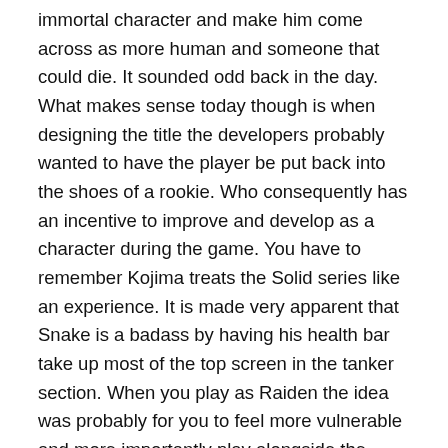immortal character and make him come across as more human and someone that could die. It sounded odd back in the day. What makes sense today though is when designing the title the developers probably wanted to have the player be put back into the shoes of a rookie. Who consequently has an incentive to improve and develop as a character during the game. You have to remember Kojima treats the Solid series like an experience. It is made very apparent that Snake is a badass by having his health bar take up most of the top screen in the tanker section. When you play as Raiden the idea was probably for you to feel more vulnerable and more importantly play alongside the Legendary Solid Snake. In the first game Snake is literally a celebrity with most the support characters wanting to sleep with him despite his lack of personality, sure he has the gravely voice and the Snake